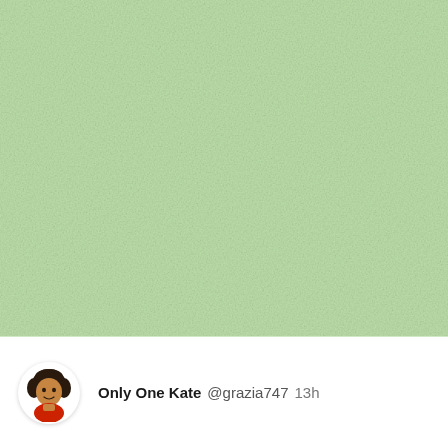[Figure (screenshot): Light green textured background filling the upper portion of a social media post screenshot]
Only One Kate @grazia747  13h